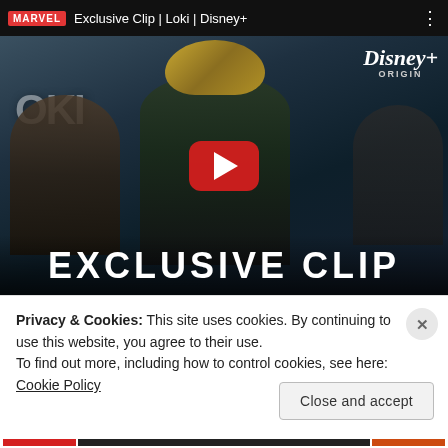[Figure (screenshot): YouTube embedded video thumbnail for 'Exclusive Clip | Loki | Disney+' by Marvel. Shows a dark cinematic scene with Loki character in center wearing golden horned helmet and green suit, flanked by two other characters. Large red YouTube play button in center. 'EXCLUSIVE CLIP' text at bottom. Video header bar at top shows Marvel logo, video title, and three-dot menu.]
Privacy & Cookies: This site uses cookies. By continuing to use this website, you agree to their use.
To find out more, including how to control cookies, see here: Cookie Policy